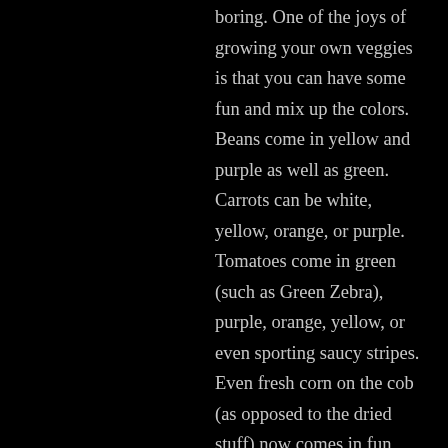boring. One of the joys of growing your own veggies is that you can have some fun and mix up the colors. Beans come in yellow and purple as well as green. Carrots can be white, yellow, orange, or purple. Tomatoes come in green (such as Green Zebra), purple, orange, yellow, or even sporting saucy stripes. Even fresh corn on the cob (as opposed to the dried stuff) now comes in fun colors. Why settle for growing what you can easily find at the market, when so many other options are